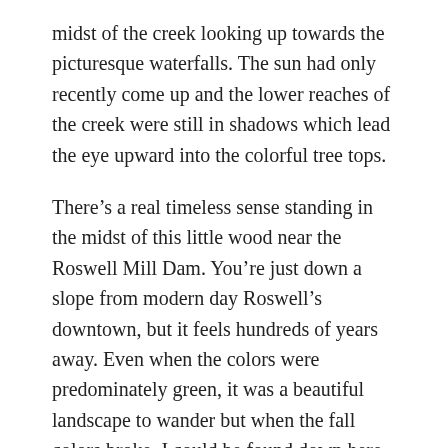midst of the creek looking up towards the picturesque waterfalls. The sun had only recently come up and the lower reaches of the creek were still in shadows which lead the eye upward into the colorful tree tops.
There’s a real timeless sense standing in the midst of this little wood near the Roswell Mill Dam. You’re just down a slope from modern day Roswell’s downtown, but it feels hundreds of years away. Even when the colors were predominately green, it was a beautiful landscape to wander but when the fall colors broke, I could be found down here most any weekend enjoying the colors and quite capturing them as seen in this autumn print.